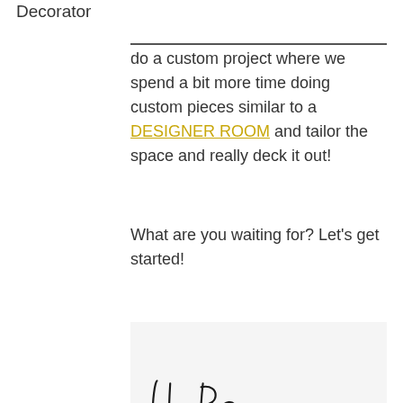Decorator do a custom project where we spend a bit more time doing custom pieces similar to a DESIGNER ROOM and tailor the space and really deck it out!
What are you waiting for? Let's get started!
[Figure (illustration): Handwritten cursive signature reading J.L. Barnes on a light gray background]